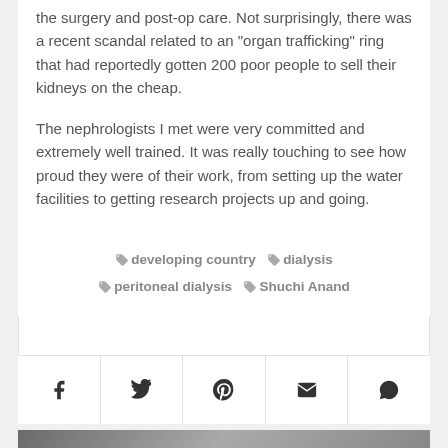the surgery and post-op care. Not surprisingly, there was a recent scandal related to an "organ trafficking" ring that had reportedly gotten 200 poor people to sell their kidneys on the cheap.
The nephrologists I met were very committed and extremely well trained. It was really touching to see how proud they were of their work, from setting up the water facilities to getting research projects up and going.
developing country   dialysis   peritoneal dialysis   Shuchi Anand
[Figure (other): Social share bar with icons for Facebook, Twitter, Pinterest, Email, and WhatsApp]
[Figure (photo): Partial bottom image, dark/grey tones, content cropped]